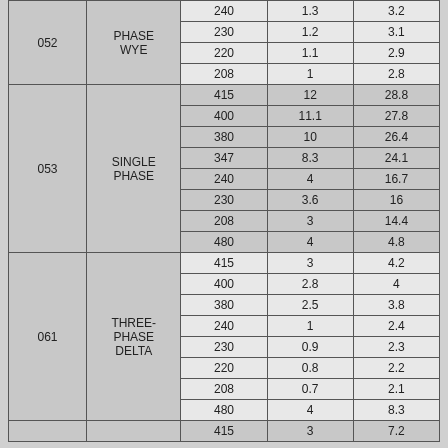| Code | Type | Voltage | Col3 | Col4 |
| --- | --- | --- | --- | --- |
| 052 | PHASE WYE | 240 | 1.3 | 3.2 |
|  |  | 230 | 1.2 | 3.1 |
|  |  | 220 | 1.1 | 2.9 |
|  |  | 208 | 1 | 2.8 |
| 053 | SINGLE PHASE | 415 | 12 | 28.8 |
|  |  | 400 | 11.1 | 27.8 |
|  |  | 380 | 10 | 26.4 |
|  |  | 347 | 8.3 | 24.1 |
|  |  | 240 | 4 | 16.7 |
|  |  | 230 | 3.6 | 16 |
|  |  | 208 | 3 | 14.4 |
|  |  | 480 | 4 | 4.8 |
| 061 | THREE-PHASE DELTA | 415 | 3 | 4.2 |
|  |  | 400 | 2.8 | 4 |
|  |  | 380 | 2.5 | 3.8 |
|  |  | 240 | 1 | 2.4 |
|  |  | 230 | 0.9 | 2.3 |
|  |  | 220 | 0.8 | 2.2 |
|  |  | 208 | 0.7 | 2.1 |
|  |  | 480 | 4 | 8.3 |
|  |  | 415 | 3 | 7.2 |